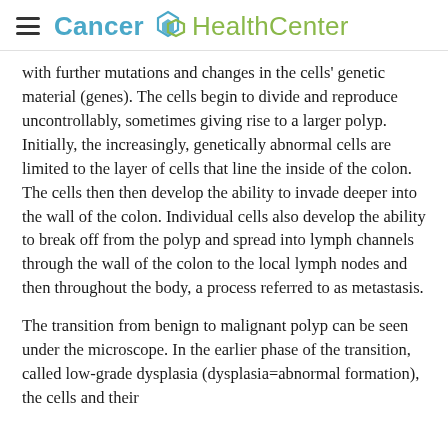Cancer HealthCenter
with further mutations and changes in the cells' genetic material (genes). The cells begin to divide and reproduce uncontrollably, sometimes giving rise to a larger polyp. Initially, the increasingly, genetically abnormal cells are limited to the layer of cells that line the inside of the colon. The cells then then develop the ability to invade deeper into the wall of the colon. Individual cells also develop the ability to break off from the polyp and spread into lymph channels through the wall of the colon to the local lymph nodes and then throughout the body, a process referred to as metastasis.
The transition from benign to malignant polyp can be seen under the microscope. In the earlier phase of the transition, called low-grade dysplasia (dysplasia=abnormal formation), the cells and their